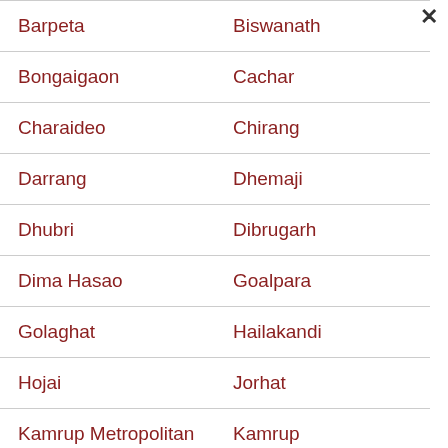| Barpeta | Biswanath |
| Bongaigaon | Cachar |
| Charaideo | Chirang |
| Darrang | Dhemaji |
| Dhubri | Dibrugarh |
| Dima Hasao | Goalpara |
| Golaghat | Hailakandi |
| Hojai | Jorhat |
| Kamrup Metropolitan | Kamrup |
| Karbi Anglong | Karimganj |
| Kokrajhar | Lakhimpur |